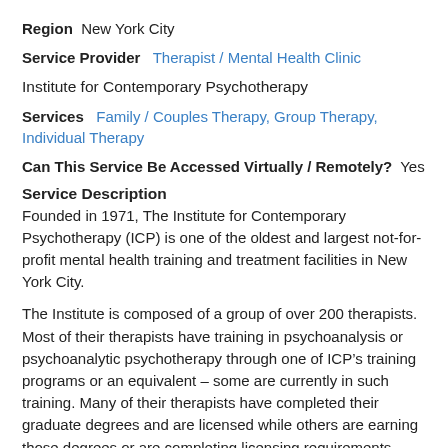Region  New York City
Service Provider  Therapist / Mental Health Clinic
Institute for Contemporary Psychotherapy
Services  Family / Couples Therapy, Group Therapy, Individual Therapy
Can This Service Be Accessed Virtually / Remotely?  Yes
Service Description
Founded in 1971, The Institute for Contemporary Psychotherapy (ICP) is one of the oldest and largest not-for-profit mental health training and treatment facilities in New York City.
The Institute is composed of a group of over 200 therapists. Most of their therapists have training in psychoanalysis or psychoanalytic psychotherapy through one of ICP’s training programs or an equivalent – some are currently in such training. Many of their therapists have completed their graduate degrees and are licensed while others are earning those degrees or are completing licensing requirements. With the exception of a small number of senior therapists, all clinical work is performed under